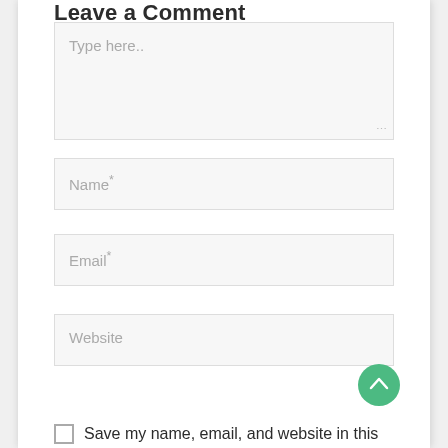Leave a Comment
Type here..
Name*
Email*
Website
Save my name, email, and website in this